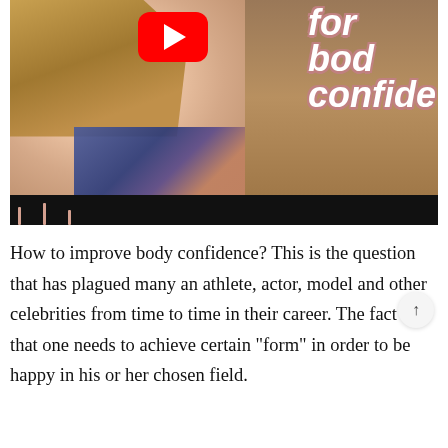[Figure (screenshot): YouTube video thumbnail showing a blonde woman in a plaid jacket with overlay text reading 'for body confide[nce]' and a YouTube play button visible at the top center. A black progress bar area is at the bottom of the video player.]
How to improve body confidence? This is the question that has plagued many an athlete, actor, model and other celebrities from time to time in their career. The fact is that one needs to achieve certain "form" in order to be happy in his or her chosen field.